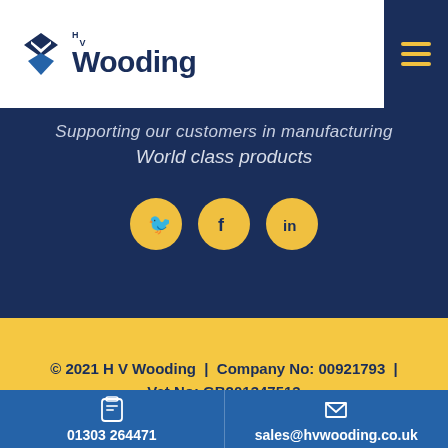[Figure (logo): H V Wooding logo with diamond/chevron icon and company name]
Supporting our customers in manufacturing World class products
[Figure (infographic): Three social media icons: Twitter, Facebook, LinkedIn as gold circles on dark navy background]
© 2021 H V Wooding  |  Company No: 00921793  |  Vat No: GB201347513
Terms and conditions  |  Privacy policy  |  Site by Kayo Digital
01303 264471
sales@hvwooding.co.uk